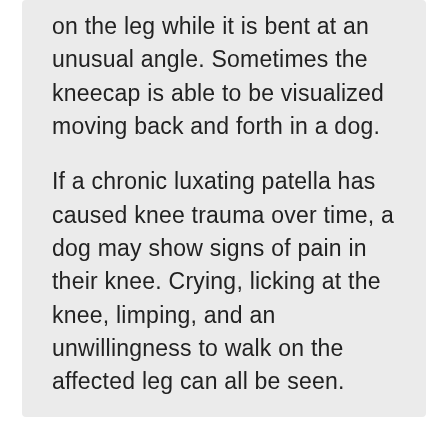on the leg while it is bent at an unusual angle. Sometimes the kneecap is able to be visualized moving back and forth in a dog.

If a chronic luxating patella has caused knee trauma over time, a dog may show signs of pain in their knee. Crying, licking at the knee, limping, and an unwillingness to walk on the affected leg can all be seen.
Surgery is the best way to help with this condition; and as you can imagine, surgery can be quite an expense. Diesel's [owner] is on a limited income, and just a few months prior used her savings for one of Diesel's siblings who was very sick. She